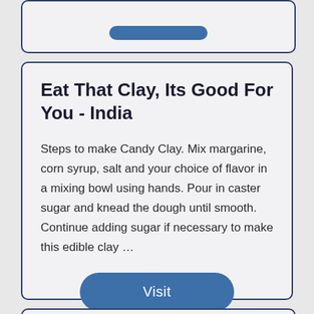[Figure (screenshot): Top portion of a card UI element with a blue rounded button, partially cropped]
Eat That Clay, Its Good For You - India
Steps to make Candy Clay. Mix margarine, corn syrup, salt and your choice of flavor in a mixing bowl using hands. Pour in caster sugar and knead the dough until smooth. Continue adding sugar if necessary to make this edible clay …
[Figure (screenshot): Blue rounded Visit button]
[Figure (screenshot): Bottom card UI element, partially cropped at the bottom of the page]